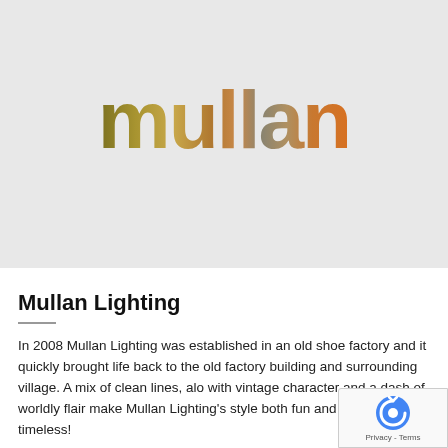[Figure (logo): Mullan Lighting logo — the word 'mullan' in large rounded lowercase letters with a metallic gradient from gold/olive on the left through copper/bronze to orange on the right, on a light grey background]
Mullan Lighting
In 2008 Mullan Lighting was established in an old shoe factory and it quickly brought life back to the old factory building and surrounding village. A mix of clean lines, along with vintage character and a dash of worldly flair make Mullan Lighting's style both fun and ultimately timeless!